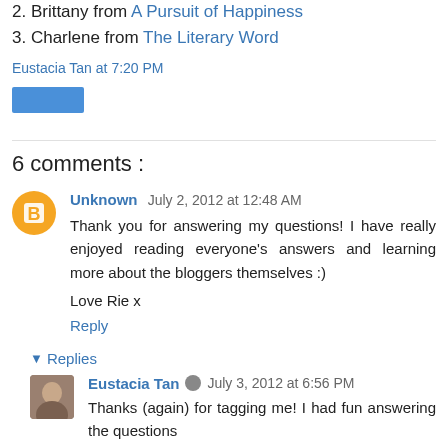2. Brittany from A Pursuit of Happiness
3. Charlene from The Literary Word
Eustacia Tan at 7:20 PM
[Figure (other): Blue rectangular button (reply/share button)]
6 comments :
Unknown July 2, 2012 at 12:48 AM
Thank you for answering my questions! I have really enjoyed reading everyone's answers and learning more about the bloggers themselves :)
Love Rie x
Reply
▼ Replies
Eustacia Tan July 3, 2012 at 6:56 PM
Thanks (again) for tagging me! I had fun answering the questions